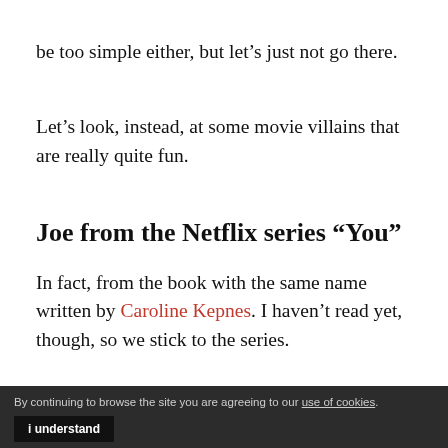be too simple either, but let’s just not go there.
Let’s look, instead, at some movie villains that are really quite fun.
Joe from the Netflix series “You”
In fact, from the book with the same name written by Caroline Kepnes. I haven’t read yet, though, so we stick to the series.
Joe is a genuine sociopath. From very early in the first episode, you realize there’s something
By continuing to browse the site you are agreeing to our use of cookies. i understand